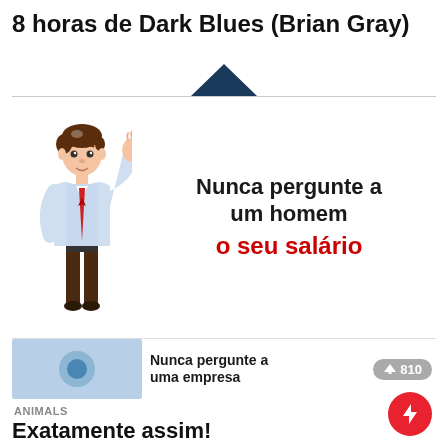8 horas de Dark Blues (Brian Gray)
[Figure (illustration): Thumbnail image with a cartoon man in business attire with the text 'Nunca pergunte a um homem o seu salário', where the last phrase is in red. A dark blue roof/monitor shape appears at the top.]
[Figure (screenshot): Partially visible second thumbnail showing a blue image on the left and the text 'Nunca pergunte a uma empresa' on the right, with a grey upvote badge showing 810.]
ANIMALS
Exatamente assim!